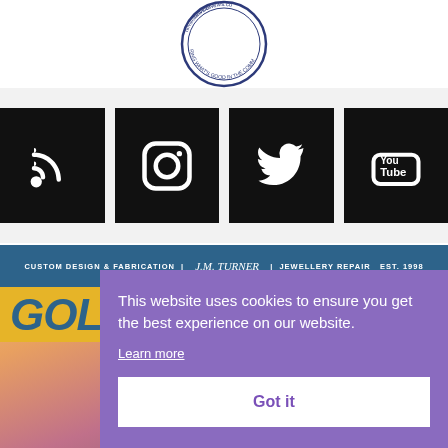[Figure (logo): Circular news organization logo with text 'rinvilleNews.co' and 'RING WHAT'S GOOD IN THE COMM' around the border]
[Figure (infographic): Row of four black social media icon buttons: RSS feed, Instagram, Twitter, YouTube]
[Figure (infographic): Advertisement banner for J.M. Turner Goldsmith: blue header bar with 'CUSTOM DESIGN & FABRICATION | J.M. Turner | JEWELLERY REPAIR EST. 1998', gold background with large blue italic text partial 'GOLDSMITH']
This website uses cookies to ensure you get the best experience on our website.
Learn more
Got it